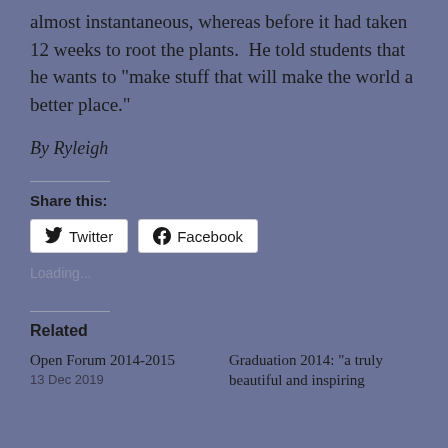almost instantaneous, whereas before it had taken 12 weeks to root the plants.  He told students that he wants to “make stuff that will make the world a better place.”
By Ryleigh
Share this:
Twitter
Facebook
Loading...
Related
Open Forum 2014-2015
13 Dec 2019
Graduation 2014: “a truly beautiful and inspiring